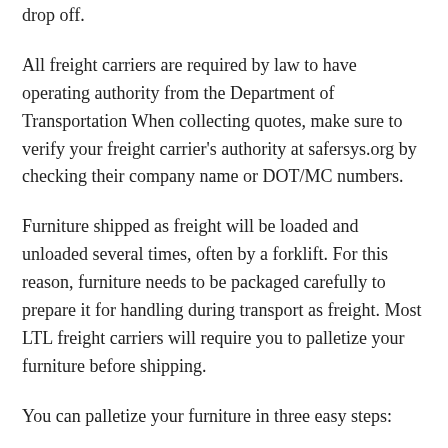drop off.
All freight carriers are required by law to have operating authority from the Department of Transportation When collecting quotes, make sure to verify your freight carrier's authority at safersys.org by checking their company name or DOT/MC numbers.
Furniture shipped as freight will be loaded and unloaded several times, often by a forklift. For this reason, furniture needs to be packaged carefully to prepare it for handling during transport as freight. Most LTL freight carriers will require you to palletize your furniture before shipping.
You can palletize your furniture in three easy steps:
If your furniture can be disassembled, do so.
Next, crate your furniture in a wooden box.
Finally place your crated furniture on a wooden pallet and secure it with bands.